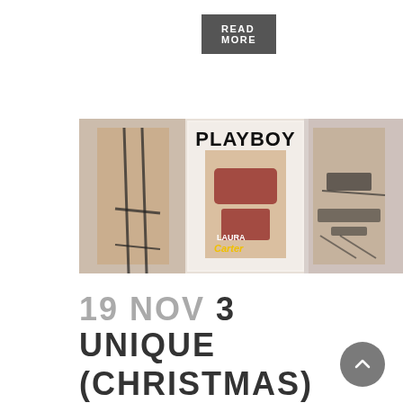READ MORE
[Figure (photo): Composite image showing Playboy magazine cover featuring Laura Carter alongside two models in lingerie]
19 NOV 3 UNIQUE (CHRISTMAS) GIFT IDEAS FOR